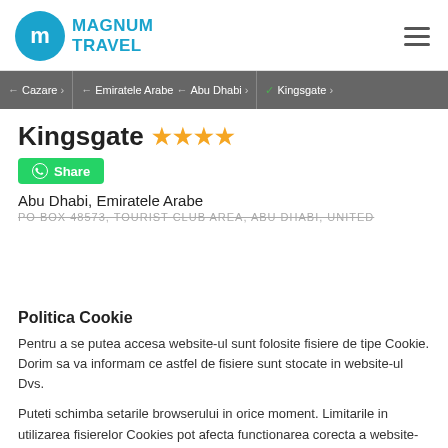[Figure (logo): Magnum Travel logo with blue circle 'm' icon and MAGNUM TRAVEL text in blue]
← Cazare › ← Emiratele Arabe ← Abu Dhabi › ✓ Kingsgate ›
Kingsgate ★★★★
Share
Abu Dhabi, Emiratele Arabe
PO BOX 48573, TOURIST CLUB AREA, ABU DHABI, UNITED
Politica Cookie
Pentru a se putea accesa website-ul sunt folosite fisiere de tipe Cookie. Dorim sa va informam ce astfel de fisiere sunt stocate in website-ul Dvs.
Puteti schimba setarile browserului in orice moment. Limitarile in utilizarea fisierelor Cookies pot afecta functionarea corecta a website-ului.
Sunt de acord